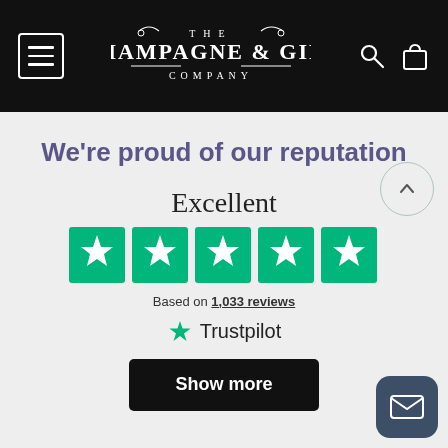[Figure (logo): The Champagne & Gift Company logo with hamburger menu icon on black navigation bar, search and bag icons]
We're proud of our reputation
Excellent
[Figure (infographic): Five green Trustpilot star rating boxes with white stars]
Based on 1,033 reviews
[Figure (logo): Trustpilot green star logo with Trustpilot label]
Show more